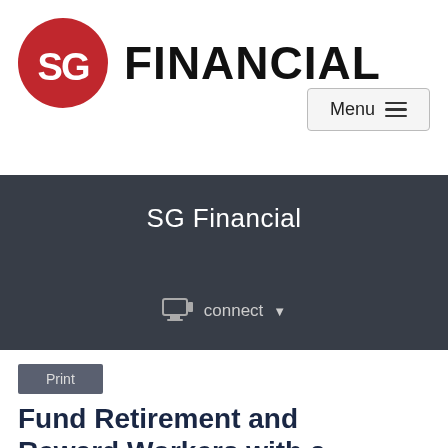[Figure (logo): SG Financial logo: red circle with white SG letters, followed by bold black FINANCIAL text]
[Figure (screenshot): Menu navigation button with hamburger icon (three horizontal lines)]
SG Financial
connect ▾
Print
Fund Retirement and Reward Workers with a